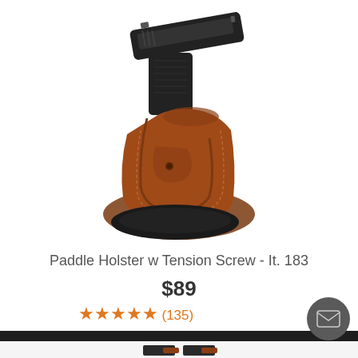[Figure (photo): A brown leather paddle holster (It. 183) holding a black semi-automatic pistol. The holster is tan/cognac colored leather with a black oval paddle base.]
Paddle Holster w Tension Screw - It. 183
$89
★★★★★ (135)